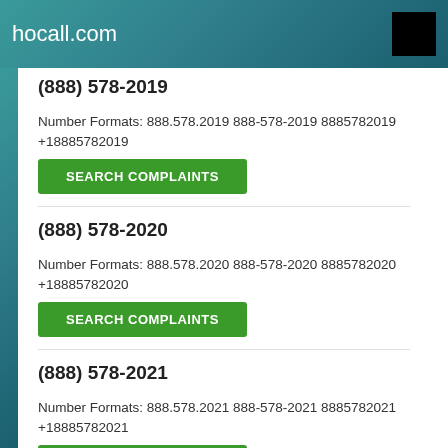hocall.com
(888) 578-2019
Number Formats: 888.578.2019 888-578-2019 8885782019 +18885782019
SEARCH COMPLAINTS
(888) 578-2020
Number Formats: 888.578.2020 888-578-2020 8885782020 +18885782020
SEARCH COMPLAINTS
(888) 578-2021
Number Formats: 888.578.2021 888-578-2021 8885782021 +18885782021
SEARCH COMPLAINTS